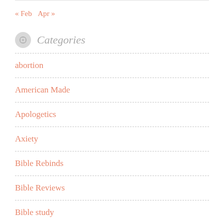« Feb  Apr »
Categories
abortion
American Made
Apologetics
Axiety
Bible Rebinds
Bible Reviews
Bible study